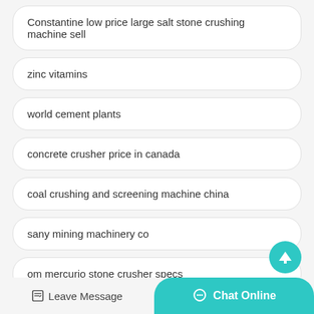Constantine low price large salt stone crushing machine sell
zinc vitamins
world cement plants
concrete crusher price in canada
coal crushing and screening machine china
sany mining machinery co
om mercurio stone crusher specs
Leave Message   Chat Online